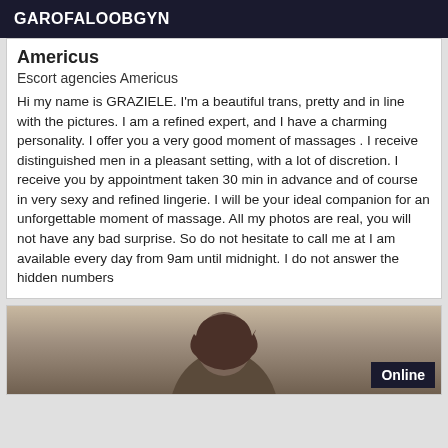GAROFALOOBGYN
Americus
Escort agencies Americus
Hi my name is GRAZIELE. I'm a beautiful trans, pretty and in line with the pictures. I am a refined expert, and I have a charming personality. I offer you a very good moment of massages . I receive distinguished men in a pleasant setting, with a lot of discretion. I receive you by appointment taken 30 min in advance and of course in very sexy and refined lingerie. I will be your ideal companion for an unforgettable moment of massage. All my photos are real, you will not have any bad surprise. So do not hesitate to call me at I am available every day from 9am until midnight. I do not answer the hidden numbers
[Figure (photo): Photo of a person with dark curly hair, partial view. An 'Online' badge is visible in the top right corner of the photo card.]